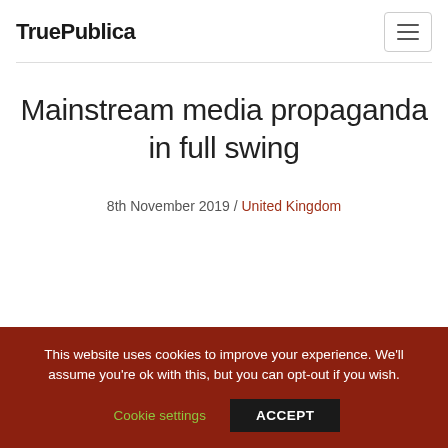TruePublica
Mainstream media propaganda in full swing
8th November 2019 / United Kingdom
This website uses cookies to improve your experience. We'll assume you're ok with this, but you can opt-out if you wish.
Cookie settings  ACCEPT